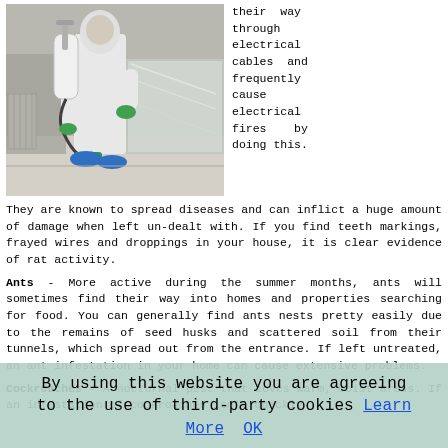[Figure (photo): Person in white protective suit with blue shoe covers using a pesticide sprayer pump in a room with furniture covered in plastic wrap]
their way through electrical cables and frequently cause electrical fires by doing this. They are known to spread diseases and can inflict a huge amount of damage when left un-dealt with. If you find teeth markings, frayed wires and droppings in your house, it is clear evidence of rat activity.
Ants - More active during the summer months, ants will sometimes find their way into homes and properties searching for food. You can generally find ants nests pretty easily due to the remains of seed husks and scattered soil from their tunnels, which spread out from the entrance. If left untreated, an ant infestation in your home can cause extensive problems.
Cockroaches - A nocturnal pest that loves warm, moist areas. If an infestation of cockroaches isn't quickly
By using this website you are agreeing to the use of third-party cookies Learn More OK